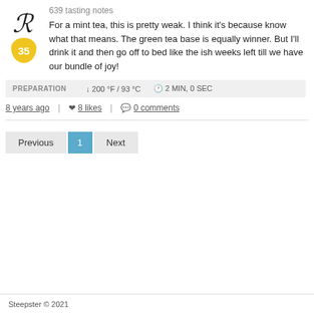639 tasting notes
For a mint tea, this is pretty weak. I think it's because know what that means. The green tea base is equally winner. But I'll drink it and then go off to bed like the ish weeks left till we have our bundle of joy!
PREPARATION   ↓ 200 °F / 93 °C   ⏱ 2 MIN, 0 SEC
8 years ago   |   ♥ 8 likes   |   💬 0 comments
Previous  1  Next
Steepster © 2021